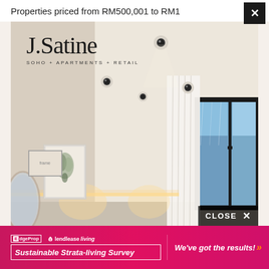Properties priced from RM500,001 to RM1
[Figure (screenshot): Screenshot of a real estate website showing a popup advertisement for J.Satine property development (SOHO + APARTMENTS + RETAIL) with an interior room photo showing a modern bedroom/living space with recessed lighting, a window with curtains, and a CLOSE button in the bottom right.]
J.Satine
SOHO + APARTMENTS + RETAIL
CLOSE ×
[Figure (photo): Interior photo of a modern apartment room with beige walls and ceiling, multiple recessed spotlights, large black-framed window showing blue sky, white curtains, artwork on wall, warm wall lighting at bottom.]
EdgeProp lendlease living Sustainable Strata-living Survey
We've got the results! »